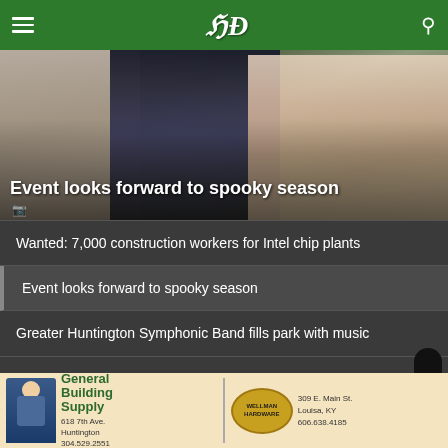HD
[Figure (photo): People in costumes/festive attire outdoors, with overlay headline 'Event looks forward to spooky season']
Event looks forward to spooky season
Wanted: 7,000 construction workers for Intel chip plants
Event looks forward to spooky season
Greater Huntington Symphonic Band fills park with music
Huff: Quarterback competition is close
[Figure (infographic): Advertisement for General Building Supply (618 7th Ave., Huntington, 304.529.2551) and Wellman Hardware (309 E. Main St., Louisa, KY, 606.638.4185)]